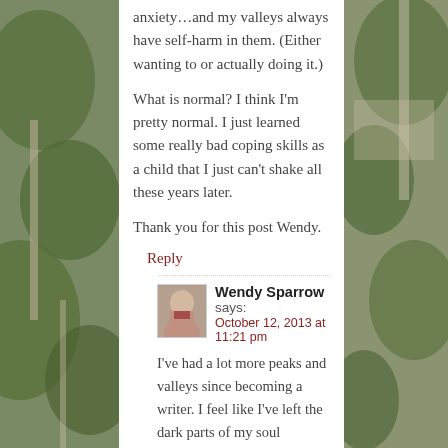anxiety…and my valleys always have self-harm in them. (Either wanting to or actually doing it.)
What is normal? I think I'm pretty normal. I just learned some really bad coping skills as a child that I just can't shake all these years later.
Thank you for this post Wendy.
Reply
Wendy Sparrow says: October 12, 2013 at 11:21 pm
I've had a lot more peaks and valleys since becoming a writer. I feel like I've left the dark parts of my soul exposed.